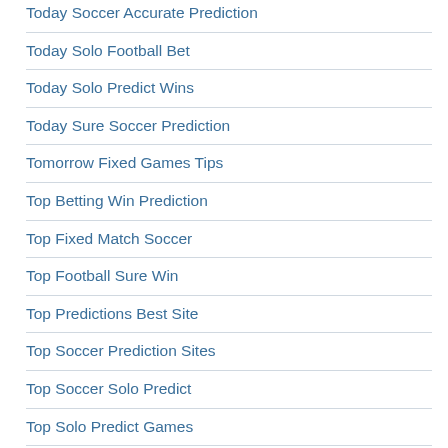Today Soccer Accurate Prediction
Today Solo Football Bet
Today Solo Predict Wins
Today Sure Soccer Prediction
Tomorrow Fixed Games Tips
Top Betting Win Prediction
Top Fixed Match Soccer
Top Football Sure Win
Top Predictions Best Site
Top Soccer Prediction Sites
Top Soccer Solo Predict
Top Solo Predict Games
Top Sure Predictions Site
Top Sure Win Predictions
Vip Betting Soccer Prediction